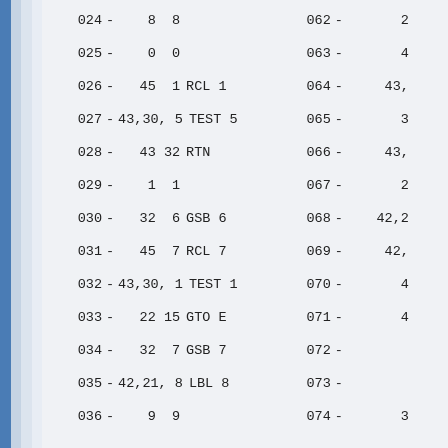| Line |  | Codes | Mnemonic | Line |  | Codes | Mnemonic |
| --- | --- | --- | --- | --- | --- | --- | --- |
| 024 | - | 8  8 |  | 062 | - | 2 |  |
| 025 | - | 0  0 |  | 063 | - | 4 |  |
| 026 | - | 45  1 | RCL 1 | 064 | - | 43, |  |
| 027 | - | 43,30, 5 | TEST 5 | 065 | - | 3 |  |
| 028 | - | 43 32 | RTN | 066 | - | 43, |  |
| 029 | - | 1  1 |  | 067 | - | 2 |  |
| 030 | - | 32  6 | GSB 6 | 068 | - | 42,2 |  |
| 031 | - | 45  7 | RCL 7 | 069 | - | 42, |  |
| 032 | - | 43,30, 1 | TEST 1 | 070 | - | 4 |  |
| 033 | - | 22 15 | GTO E | 071 | - | 4 |  |
| 034 | - | 32  7 | GSB 7 | 072 | - |  |  |
| 035 | - | 42,21, 8 | LBL 8 | 073 | - |  |  |
| 036 | - | 9  9 |  | 074 | - | 3 |  |